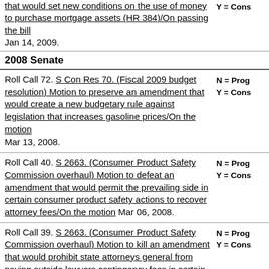that would set new conditions on the use of money to purchase mortgage assets (HR 384)/On passing the bill Jan 14, 2009.
Y = Cons
2008 Senate
Roll Call 72. S Con Res 70. (Fiscal 2009 budget resolution) Motion to preserve an amendment that would create a new budgetary rule against legislation that increases gasoline prices/On the motion Mar 13, 2008.
N = Prog Y = Cons
Roll Call 40. S 2663. (Consumer Product Safety Commission overhaul) Motion to defeat an amendment that would permit the prevailing side in certain consumer product safety actions to recover attorney fees/On the motion Mar 06, 2008.
N = Prog Y = Cons
Roll Call 39. S 2663. (Consumer Product Safety Commission overhaul) Motion to kill an amendment that would prohibit state attorneys general from paying outside lawyers contingency fees in certain product safety cases/On the motion Mar 05, 2008.
N = Prog Y = Cons
Roll Call 37. S 2663. (Consumer Product Safety